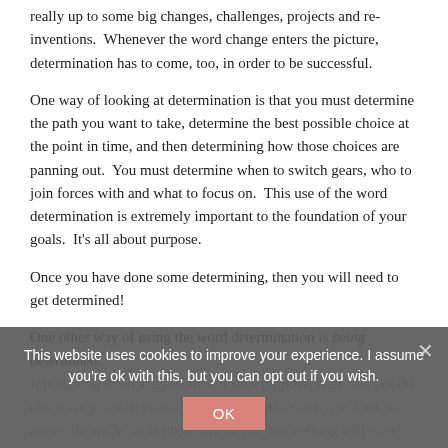really up to some big changes, challenges, projects and re-inventions. Whenever the word change enters the picture, determination has to come, too, in order to be successful.
One way of looking at determination is that you must determine the path you want to take, determine the best possible choice at the point in time, and then determining how those choices are panning out. You must determine when to switch gears, who to join forces with and what to focus on. This use of the word determination is extremely important to the foundation of your goals. It's all about purpose.
Once you have done some determining, then you will need to get determined!
One other way of using the word determination is being determined. It is staying fixed and resolute in your purpose, regardless of the obstacles you will encounter in your goal experience. I ask you are doing and what is important to you that nothing will stop you. You are determined to reach your goals.
This website uses cookies to improve your experience. I assume you're ok with this, but you can opt out if you wish.